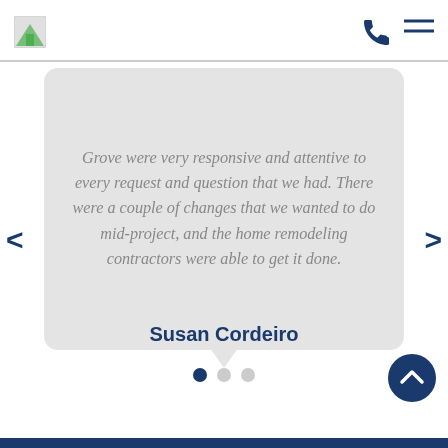Grove were very responsive and attentive to every request and question that we had. There were a couple of changes that we wanted to do mid-project, and the home remodeling contractors were able to get it done.
Susan Cordeiro